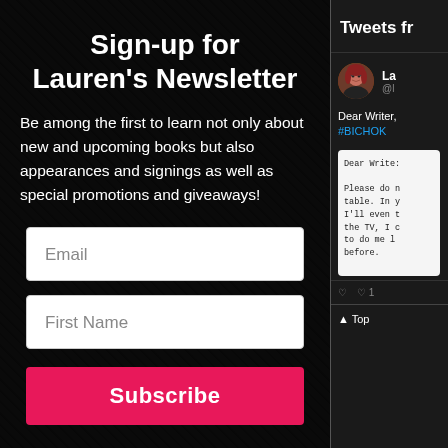Sign-up for Lauren's Newsletter
Be among the first to learn not only about new and upcoming books but also appearances and signings as well as special promotions and giveaways!
Email
First Name
Subscribe
Tweets fr
[Figure (screenshot): Twitter/X tweet panel showing a user profile pic, username 'La' and handle '@l', tweet text 'Dear Writer, #BICHOK' with a letter image and heart action icons, and a Top navigation element]
Dear Writer, #BICHOK
Dear Write:

Please do n table. In y I'll even t the TV, I c to do me l before.
▲ Top